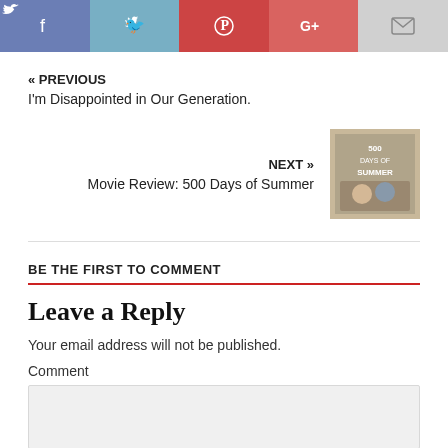[Figure (other): Social share buttons: Facebook, Twitter, Pinterest, Google+, Email]
« PREVIOUS
I'm Disappointed in Our Generation.
NEXT »
Movie Review: 500 Days of Summer
[Figure (photo): Thumbnail image for 500 Days of Summer movie review]
BE THE FIRST TO COMMENT
Leave a Reply
Your email address will not be published.
Comment